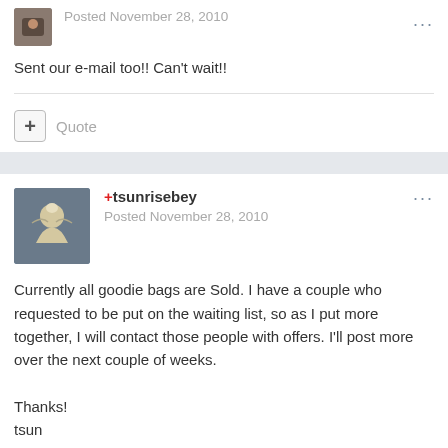Posted November 28, 2010
Sent our e-mail too!! Can't wait!!
Quote
+tsunrisebey
Posted November 28, 2010
Currently all goodie bags are Sold. I have a couple who requested to be put on the waiting list, so as I put more together, I will contact those people with offers. I'll post more over the next couple of weeks.
Thanks!
tsun
Quote